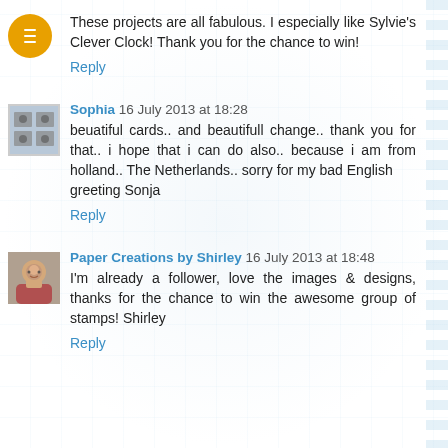These projects are all fabulous. I especially like Sylvie's Clever Clock! Thank you for the chance to win!
Reply
Sophia 16 July 2013 at 18:28
beuatiful cards.. and beautifull change.. thank you for that.. i hope that i can do also.. because i am from holland.. The Netherlands.. sorry for my bad English greeting Sonja
Reply
Paper Creations by Shirley 16 July 2013 at 18:48
I'm already a follower, love the images & designs, thanks for the chance to win the awesome group of stamps! Shirley
Reply